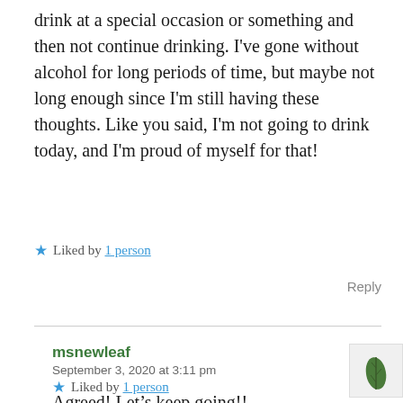drink at a special occasion or something and then not continue drinking. I've gone without alcohol for long periods of time, but maybe not long enough since I'm still having these thoughts. Like you said, I'm not going to drink today, and I'm proud of myself for that!
★ Liked by 1 person
Reply
msnewleaf
September 3, 2020 at 3:11 pm
Agreed! Let's keep going!!
★ Liked by 1 person